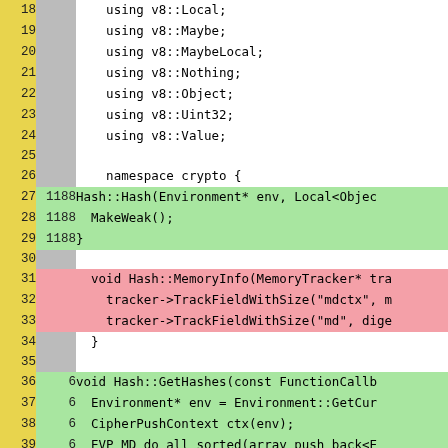[Figure (screenshot): Code coverage diff view showing C++ source code lines 18-44. Yellow left column shows line numbers, gray second column shows hit counts (green rows for covered lines, red rows for uncovered/changed lines). Code includes using declarations, namespace crypto, and Hash class methods including Hash constructor, MemoryInfo, GetHashes, and Initialize.]